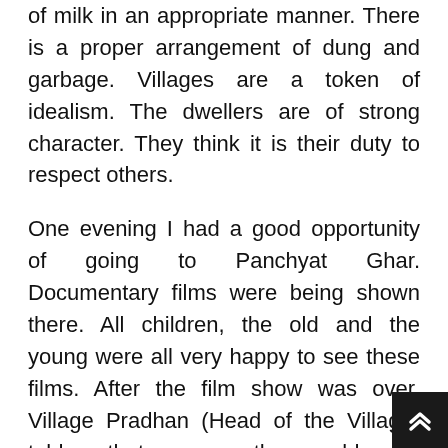of milk in an appropriate manner. There is a proper arrangement of dung and garbage. Villages are a token of idealism. The dwellers are of strong character. They think it is their duty to respect others.
One evening I had a good opportunity of going to Panchyat Ghar. Documentary films were being shown there. All children, the old and the young were all very happy to see these films. After the film show was over, Village Pradhan (Head of the Village) told me that very soon they would make gas out of dung. This gas would be used to supply electricity to all villages at very cheap rates. On seeing the tremendous changes in the countryside and people's